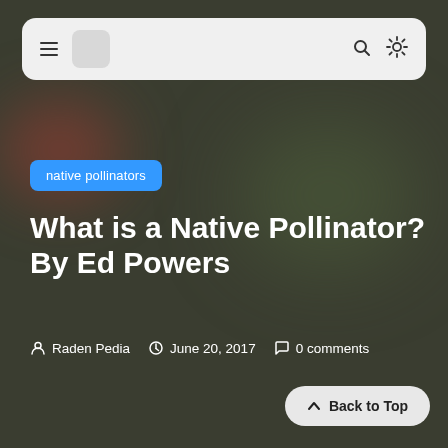Navigation bar with hamburger menu, logo placeholder, search icon, and sun/settings icon
native pollinators
What is a Native Pollinator? By Ed Powers
Raden Pedia   June 20, 2017   0 comments
Back to Top